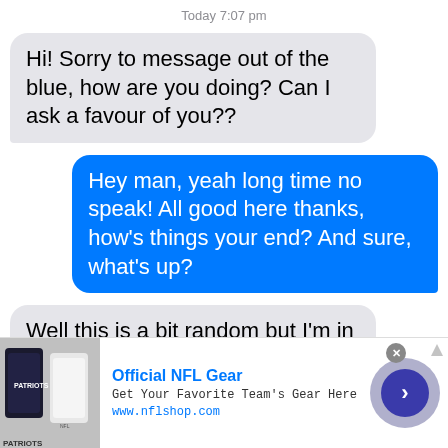Today 7:07 pm
Hi! Sorry to message out of the blue, how are you doing? Can I ask a favour of you??
Hey man, yeah long time no speak! All good here thanks, how's things your end? And sure, what's up?
Well this is a bit random but I'm in a little debt and I know you have some more cash at the
[Figure (screenshot): Advertisement banner for Official NFL Gear showing NFL jerseys image, title 'Official NFL Gear', description 'Get Your Favorite Team's Gear Here', URL 'www.nflshop.com', close button, and arrow navigation button]